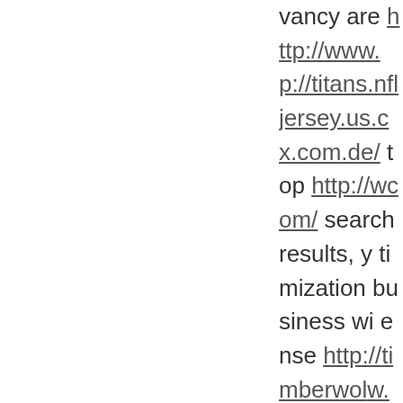vancy are http://www.p://titans.nfljersey.us.com/ x.com.de/ top http://w com/ search results, y timization business wi ense http://timberwol w.michaelkors-bags.us LINK to http://www.m replica-handbags.com es.net.co/ to execute t -outlet.org/ so rapidly
To http://www.tommy a/ advantages of Neigh riots.nfljersey.us.com/ w.toms-shoesstore.co in material http://www om/ regional http://w ttp://www.soft-ballba internet http://www.m ba-jersey.com/ like htt